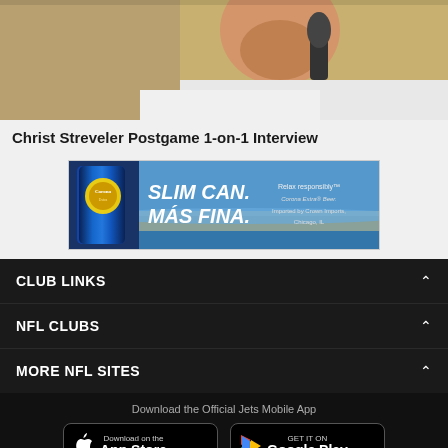[Figure (photo): Photo of a man (Christ Streveler) speaking into a microphone after a game, wearing a white sleeveless shirt]
Christ Streveler Postgame 1-on-1 Interview
[Figure (photo): Corona Extra advertisement banner: SLIM CAN. MÁS FINA. Relax responsibly. Corona Extra Beer. Imported by Crown Imports, Chicago, IL]
CLUB LINKS
NFL CLUBS
MORE NFL SITES
Download the Official Jets Mobile App
[Figure (screenshot): App Store download button]
[Figure (screenshot): Google Play download button]
[Figure (infographic): Social media icons: Facebook, Twitter, Email, Link]